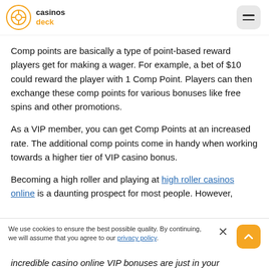casinos deck
Comp points are basically a type of point-based reward players get for making a wager. For example, a bet of $10 could reward the player with 1 Comp Point. Players can then exchange these comp points for various bonuses like free spins and other promotions.
As a VIP member, you can get Comp Points at an increased rate. The additional comp points come in handy when working towards a higher tier of VIP casino bonus.
Becoming a high roller and playing at high roller casinos online is a daunting prospect for most people. However, [you will]
incredible casino online VIP bonuses are just in your
We use cookies to ensure the best possible quality. By continuing, we will assume that you agree to our privacy policy.